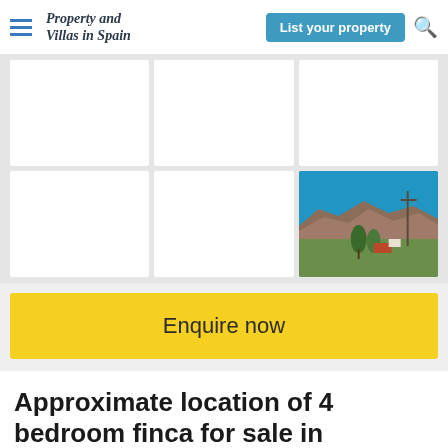Property and Villas in Spain — List your property
[Figure (photo): Gallery grid of 6 cells (2 rows x 3 columns). Five cells are blank/white. One cell (bottom right) shows a partial landscape photo: blue sky, mountains, trees and a utility pole.]
Enquire now
Approximate location of 4 bedroom finca for sale in Orihuela,